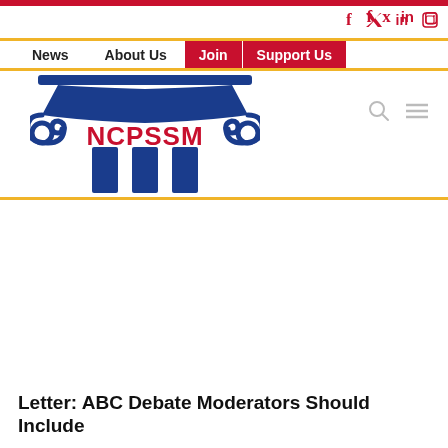NCPSSM website header with social icons (f, Twitter, in, Instagram) and navigation: News, About Us, Join, Support Us
[Figure (logo): NCPSSM logo: blue Ionic column capital with scrolls on each side, blue column shaft with three flutes below, red bold text 'NCPSSM' in the middle of the column]
Letter: ABC Debate Moderators Should Include